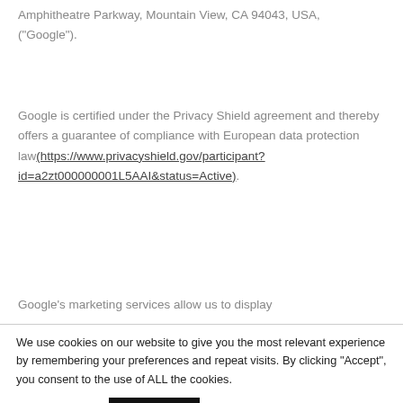Amphitheatre Parkway, Mountain View, CA 94043, USA, ("Google").
Google is certified under the Privacy Shield agreement and thereby offers a guarantee of compliance with European data protection law(https://www.privacyshield.gov/participant?id=a2zt000000001L5AAI&status=Active).
Google's marketing services allow us to display
We use cookies on our website to give you the most relevant experience by remembering your preferences and repeat visits. By clicking "Accept", you consent to the use of ALL the cookies.